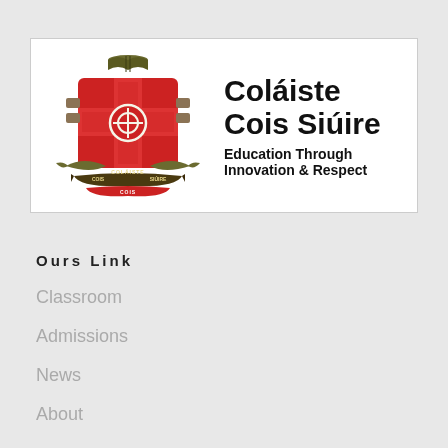[Figure (logo): Coláiste Cois Siúire school crest/banner with red and olive heraldic shield featuring a cross, fish, open book, and banner reading COLÁISTE COIS SIÚIRE, alongside the school name and tagline]
Ours Link
Classroom
Admissions
News
About